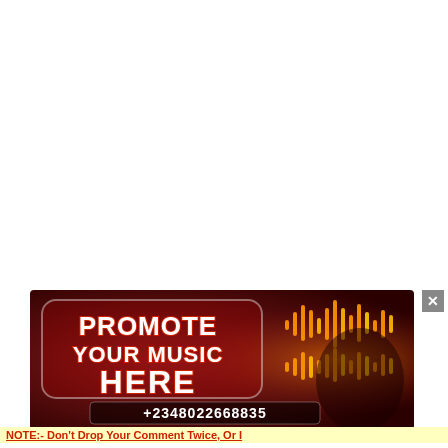[Figure (infographic): Music promotion advertisement banner with dark red background. Shows a person wearing headphones with glowing sound wave effects. Text reads 'PROMOTE YOUR MUSIC HERE' in bold white letters inside a rounded rectangle, with phone number '+2348022668835' at the bottom.]
NOTE:- Don't Drop Your Comment Twice, Or I